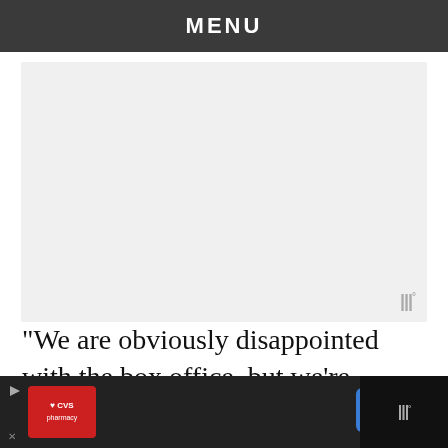MENU
[Figure (other): Advertisement placeholder block with watermark logo]
“We are obviously disappointed with the box office, but we’re proud of [director Reed Morano] and our movie and the overwhelmingly positive reaction to Blake’s performance,” the producers Barbara Broccoli and Michael G. Wilson said in a statement to Deadline.
[Figure (other): Bottom advertisement bar with CVS Pharmacy logo and navigation arrow]